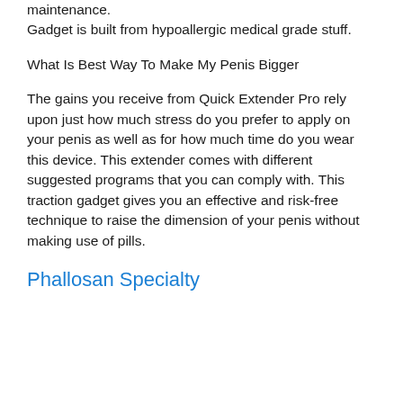maintenance.
Gadget is built from hypoallergic medical grade stuff.
What Is Best Way To Make My Penis Bigger
The gains you receive from Quick Extender Pro rely upon just how much stress do you prefer to apply on your penis as well as for how much time do you wear this device. This extender comes with different suggested programs that you can comply with. This traction gadget gives you an effective and risk-free technique to raise the dimension of your penis without making use of pills.
Phallosan Specialty